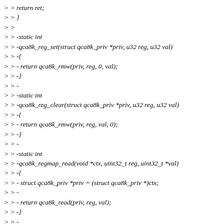> > return ret;
> > }
> >
> > -static int
> > -qca8k_reg_set(struct qca8k_priv *priv, u32 reg, u32 val)
> > -{
> > - return qca8k_rmw(priv, reg, 0, val);
> > -}
> > -
> > -static int
> > -qca8k_reg_clear(struct qca8k_priv *priv, u32 reg, u32 val)
> > -{
> > - return qca8k_rmw(priv, reg, val, 0);
> > -}
> > -
> > -static int
> > -qca8k_regmap_read(void *ctx, uint32_t reg, uint32_t *val)
> > -{
> > - struct qca8k_priv *priv = (struct qca8k_priv *)ctx;
> > -
> > - return qca8k_read(priv, reg, val);
> > -}
> > -
> > -static int
> > -qca8k_regmap_write(void *ctx, uint32_t reg, uint32_t val)
> > -{